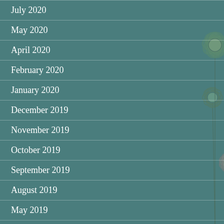July 2020
May 2020
April 2020
February 2020
January 2020
December 2019
November 2019
October 2019
September 2019
August 2019
May 2019
April 2019
March 2019
[Figure (illustration): Decorative daisy flowers drawn in outline style overlaid on the list, in muted greens, blues, and pinks on a teal background]